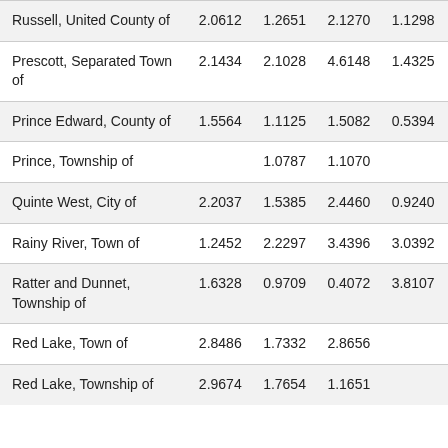| Russell, United County of | 2.0612 | 1.2651 | 2.1270 | 1.1298 |
| Prescott, Separated Town of | 2.1434 | 2.1028 | 4.6148 | 1.4325 |
| Prince Edward, County of | 1.5564 | 1.1125 | 1.5082 | 0.5394 |
| Prince, Township of |  | 1.0787 | 1.1070 |  |
| Quinte West, City of | 2.2037 | 1.5385 | 2.4460 | 0.9240 |
| Rainy River, Town of | 1.2452 | 2.2297 | 3.4396 | 3.0392 |
| Ratter and Dunnet, Township of | 1.6328 | 0.9709 | 0.4072 | 3.8107 |
| Red Lake, Town of | 2.8486 | 1.7332 | 2.8656 |  |
| Red Lake, Township of | 2.9674 | 1.7654 | 1.1651 |  |